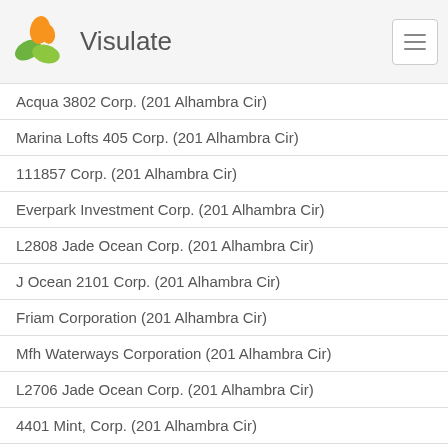Visulate
Acqua 3802 Corp. (201 Alhambra Cir)
Marina Lofts 405 Corp. (201 Alhambra Cir)
111857 Corp. (201 Alhambra Cir)
Everpark Investment Corp. (201 Alhambra Cir)
L2808 Jade Ocean Corp. (201 Alhambra Cir)
J Ocean 2101 Corp. (201 Alhambra Cir)
Friam Corporation (201 Alhambra Cir)
Mfh Waterways Corporation (201 Alhambra Cir)
L2706 Jade Ocean Corp. (201 Alhambra Cir)
4401 Mint, Corp. (201 Alhambra Cir)